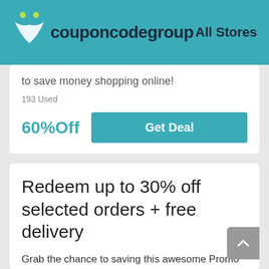couponcodegroup  All Stores
to save money shopping online!
193 Used
60%Off
Get Deal
Redeem up to 30% off selected orders + free delivery
Grab the chance to saving this awesome Promo Code plus Little Ratbag Discount Code: Redeem up to 30% off selected orders + free delivery. Save 30% on